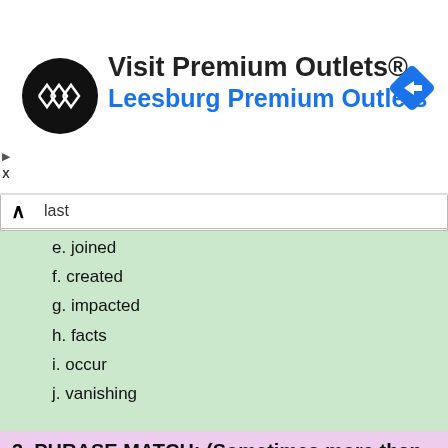[Figure (screenshot): Advertisement banner for Visit Premium Outlets® – Leesburg Premium Outlets, with logo and navigation icon]
last
e. joined
f. created
g. impacted
h. facts
i. occur
j. vanishing
3. PHRASE MATCH: (Sometimes more than one choice is possible.)
1. the volcano that erupted
2. It was the biggest
3. the biggest to happen in
4. the blast may have been as large